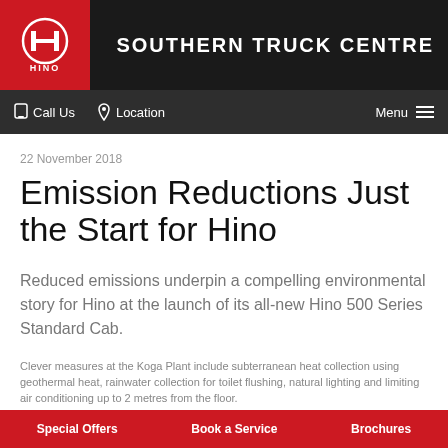SOUTHERN TRUCK CENTRE
[Figure (logo): Hino logo - red box with white H circle emblem and HINO text]
Call Us   Location   Menu
22 November 2018
Emission Reductions Just the Start for Hino
Reduced emissions underpin a compelling environmental story for Hino at the launch of its all-new Hino 500 Series Standard Cab.
Clever measures at the Koga Plant include subterranean heat collection using geothermal heat, rainwater collection for toilet flushing, natural lighting and limiting air conditioning up to 2 metres from the floor.
Special Offers   Book a Service   Brochures